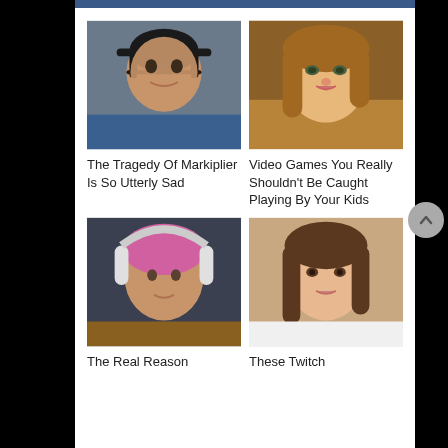[Figure (photo): Photo of Markiplier, a man with dark hair and headphones]
[Figure (photo): 3D rendered image of a female video game character with brown hair]
The Tragedy Of Markiplier Is So Utterly Sad
Video Games You Really Shouldn't Be Caught Playing By Your Kids
[Figure (photo): Man with pink/purple hair wearing large white headphones]
[Figure (photo): Young woman with dark hair and brown eyes]
The Real Reason
These Twitch